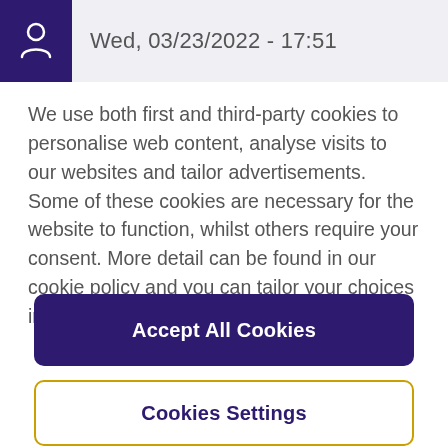Wed, 03/23/2022 - 17:51
We use both first and third-party cookies to personalise web content, analyse visits to our websites and tailor advertisements. Some of these cookies are necessary for the website to function, whilst others require your consent. More detail can be found in our cookie policy and you can tailor your choices in the preference centre.
Accept All Cookies
Cookies Settings